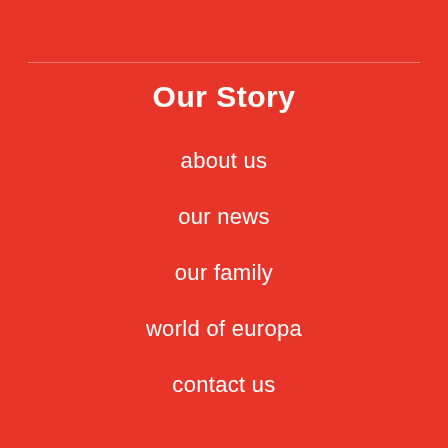Our Story
about us
our news
our family
world of europa
contact us